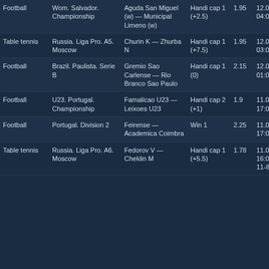| Sport | League | Match | Bet | Odds | Date/Result |
| --- | --- | --- | --- | --- | --- |
| Football | Wom. Salvador. Championship | Aguda San Miguel (w) — Municipal Limeno (w) | Handi cap 1 (+2.5) | 1.95 | 12.09 04:00 |
| Table tennis | Russia. Liga Pro. A5. Moscow | Churin K — Zhurba N | Handi cap 1 (+7.5) | 1.95 | 12.09 03:00 |
| Football | Brazil. Paulista. Serie B | Gremio Sao Carlense — Rio Branco Sao Paulo | Handi cap 1 (0) | 2.15 | 12.09 01:00 1:1 (1-1) |
| Football | U23. Portugal. Championship | Famalicao U23 — Leixoes U23 | Handi cap 2 (+1) | 1.9 | 11.09 17:00 1:1 (1-1) |
| Football | Portugal. Division 2 | Feirense — Academica Coimbra | Win 1 | 2.25 | 11.09 17:00 1:0 (0-0) |
| Table tennis | Russia. Liga Pro. A6. Moscow | Fedorov V — Cheklin M | Handi cap 1 (+5.5) | 1.78 | 11.09 16:00 1:3 (1-11 11-8 |